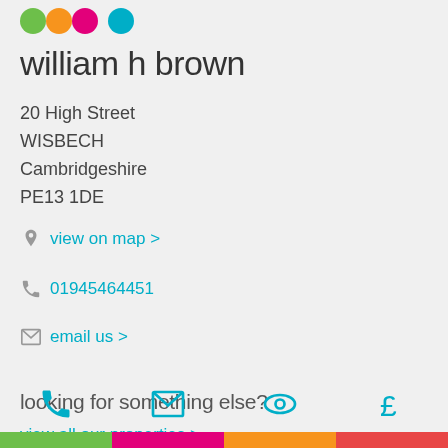[Figure (logo): William H Brown logo with colored circles (green, orange, pink, cyan) and brand name text]
william h brown
20 High Street
WISBECH
Cambridgeshire
PE13 1DE
view on map >
01945464451
email us >
looking for something else?
view all our properties >
we're here to help
more about our team >
[Figure (infographic): Bottom navigation bar with phone, email, eye, and pound sign icons in cyan]